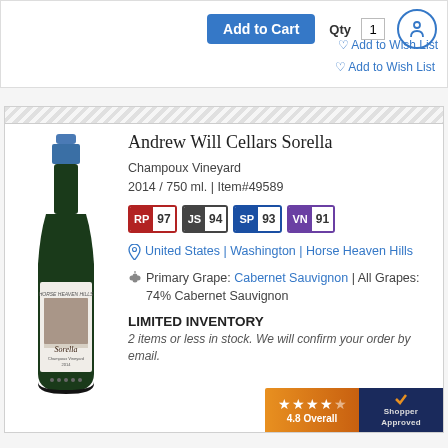[Figure (screenshot): Add to Cart button (blue), Qty label with value 1 in input box, accessibility icon (circle with person), and Add to Wish List link with heart icon]
[Figure (photo): Wine bottle of Andrew Will Cellars Sorella, Champoux Vineyard 2014, dark bottle with blue capsule and illustrated label]
Andrew Will Cellars Sorella
Champoux Vineyard
2014 / 750 ml. | Item#49589
RP 97  JS 94  SP 93  VN 91
United States | Washington | Horse Heaven Hills
Primary Grape: Cabernet Sauvignon | All Grapes: 74% Cabernet Sauvignon
LIMITED INVENTORY
2 items or less in stock. We will confirm your order by email.
[Figure (logo): Shopper Approved badge: 4.8 Overall with 4.5 stars rating]